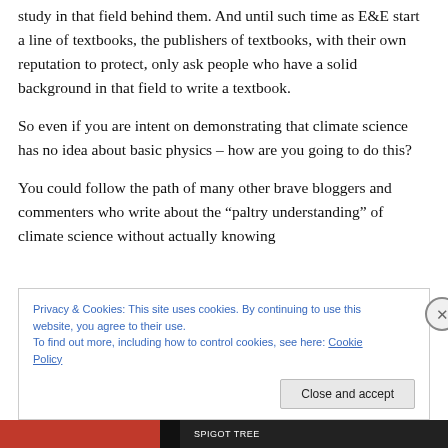study in that field behind them. And until such time as E&E start a line of textbooks, the publishers of textbooks, with their own reputation to protect, only ask people who have a solid background in that field to write a textbook.
So even if you are intent on demonstrating that climate science has no idea about basic physics – how are you going to do this?
You could follow the path of many other brave bloggers and commenters who write about the “paltry understanding” of climate science without actually knowing
Privacy & Cookies: This site uses cookies. By continuing to use this website, you agree to their use.
To find out more, including how to control cookies, see here: Cookie Policy
Close and accept